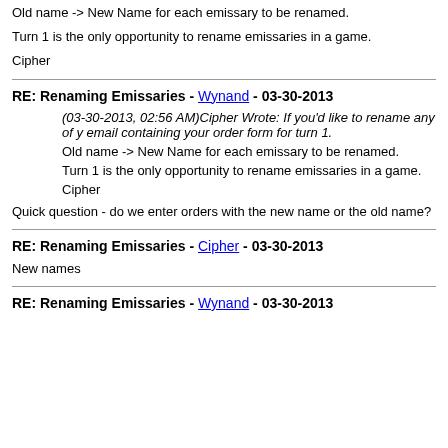Old name -> New Name for each emissary to be renamed.
Turn 1 is the only opportunity to rename emissaries in a game.
Cipher
RE: Renaming Emissaries - Wynand - 03-30-2013
(03-30-2013, 02:56 AM)Cipher Wrote: If you'd like to rename any of y... email containing your order form for turn 1.
Old name -> New Name for each emissary to be renamed.
Turn 1 is the only opportunity to rename emissaries in a game.
Cipher
Quick question - do we enter orders with the new name or the old name?
RE: Renaming Emissaries - Cipher - 03-30-2013
New names
RE: Renaming Emissaries - Wynand - 03-30-2013